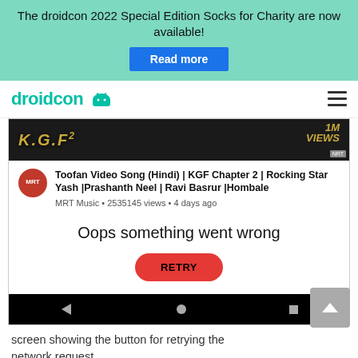The droidcon 2022 Special Edition Socks for Charity are now available! Read more
[Figure (screenshot): droidcon website navigation header with teal logo and hamburger menu icon]
[Figure (screenshot): Android phone screenshot showing a YouTube video error: 'Toofan Video Song (Hindi) | KGF Chapter 2 | Rocking Star Yash |Prashanth Neel | Ravi Basrur |Hombale' from MRT Music, 2535145 views, 4 days ago, with an 'Oops something went wrong' error and a RETRY button, and phone navigation bar at bottom]
screen showing the button for retrying the network request